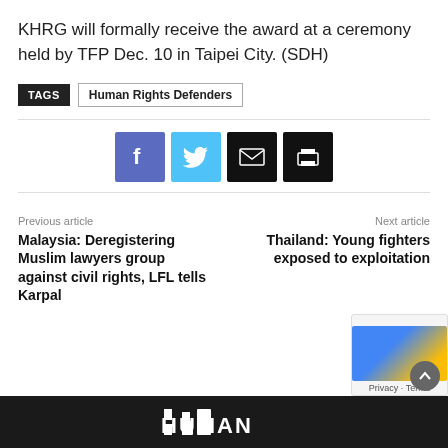KHRG will formally receive the award at a ceremony held by TFP Dec. 10 in Taipei City. (SDH)
TAGS  Human Rights Defenders
[Figure (infographic): Social share buttons: Facebook (blue), Twitter (cyan), Email (black), Print (black)]
Previous article
Malaysia: Deregistering Muslim lawyers group against civil rights, LFL tells Karpal
Next article
Thailand: Young fighters exposed to exploitation
HUMAN (logo)